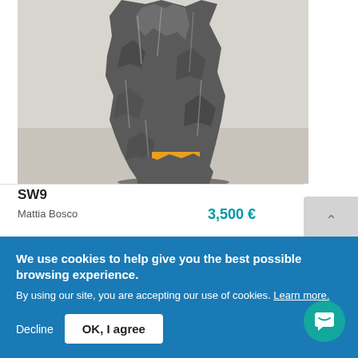[Figure (photo): Photograph of a sculptural artwork SW9 by Mattia Bosco — a rough, dark gray stone or rock-like form with a yellow/orange base, photographed against a light gray background]
SW9
Mattia Bosco
3,500 €
We use cookies to help give you the best possible browsing experience.
By using our site, you are accepting our use of cookies. Learn more.
Decline
OK, I agree